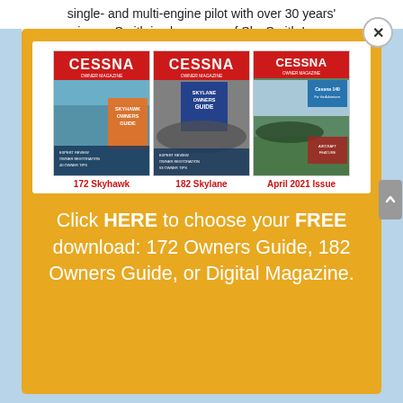single- and multi-engine pilot with over 30 years' experience. Smith is also owner of Sky Smith Insurance
[Figure (screenshot): Modal popup with golden/yellow background showing three Cessna Owner Magazine covers (172 Skyhawk, 182 Skylane, April 2021 Issue) and a call-to-action text below them. A close (X) button is in the top-right corner.]
172 Skyhawk    182 Skylane    April 2021 Issue
Click HERE to choose your FREE download: 172 Owners Guide, 182 Owners Guide, or Digital Magazine.